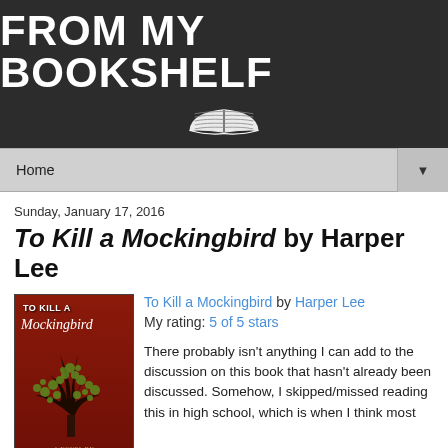FROM MY BOOKSHELF
To Kill a Mockingbird by Harper Lee
Sunday, January 17, 2016
[Figure (photo): Book cover of To Kill a Mockingbird by Harper Lee — red background with tree silhouette]
To Kill a Mockingbird by Harper Lee
My rating: 5 of 5 stars

There probably isn't anything I can add to the discussion on this book that hasn't already been discussed. Somehow, I skipped/missed reading this in high school, which is when I think most